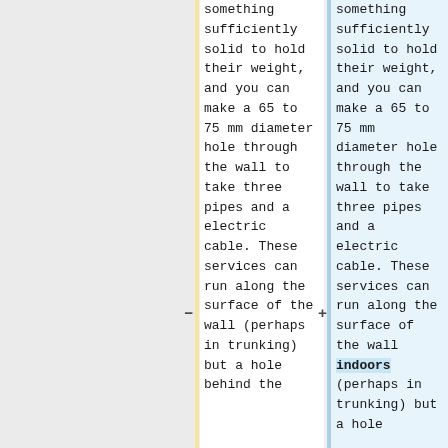something sufficiently solid to hold their weight, and you can make a 65 to 75 mm diameter hole through the wall to take three pipes and a electric cable. These services can run along the surface of the wall (perhaps in trunking) but a hole behind the
something sufficiently solid to hold their weight, and you can make a 65 to 75 mm diameter hole through the wall to take three pipes and a electric cable. These services can run along the surface of the wall indoors (perhaps in trunking) but a hole